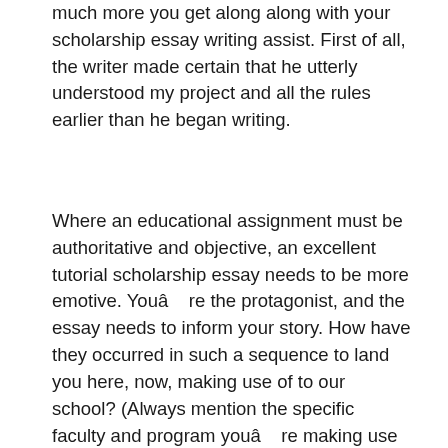much more you get along along with your scholarship essay writing assist. First of all, the writer made certain that he utterly understood my project and all the rules earlier than he began writing.
Where an educational assignment must be authoritative and objective, an excellent tutorial scholarship essay needs to be more emotive. Youâre the protagonist, and the essay needs to inform your story. How have they occurred in such a sequence to land you here, now, making use of to our school? (Always mention the specific faculty and program youâre making use of to). Who can deal with the duty higher than experts? The number of NSL writers exceeds 1,200